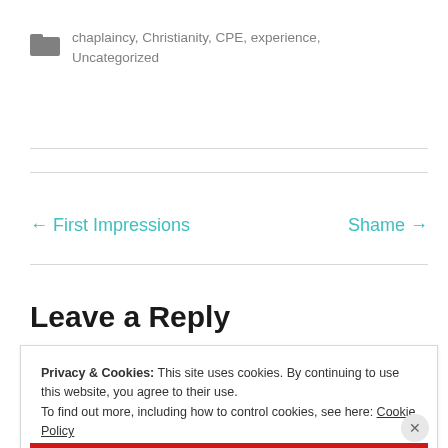chaplaincy, Christianity, CPE, experience, Uncategorized
← First Impressions    Shame →
Leave a Reply
Privacy & Cookies: This site uses cookies. By continuing to use this website, you agree to their use.
To find out more, including how to control cookies, see here: Cookie Policy
Close and accept